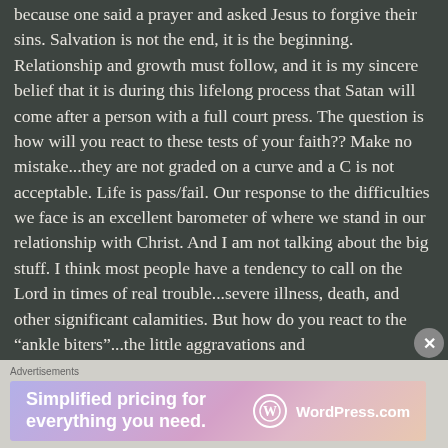because one said a prayer and asked Jesus to forgive their sins. Salvation is not the end, it is the beginning. Relationship and growth must follow, and it is my sincere belief that it is during this lifelong process that Satan will come after a person with a full court press. The question is how will you react to these tests of your faith?? Make no mistake...they are not graded on a curve and a C is not acceptable. Life is pass/fail. Our response to the difficulties we face is an excellent barometer of where we stand in our relationship with Christ. And I am not talking about the big stuff. I think most people have a tendency to call on the Lord in times of real trouble...severe illness, death, and other significant calamities. But how do you react to the “ankle biters”...the little aggravations and
[Figure (other): WordPress.com advertisement banner with gradient background (purple to peach). Text reads 'Simplified pricing for everything you need.' with WordPress.com logo and name on the right.]